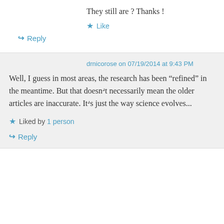They still are ? Thanks !
★ Like
↳ Reply
drnicorose on 07/19/2014 at 9:43 PM
Well, I guess in most areas, the research has been “refined” in the meantime. But that doesn´t necessarily mean the older articles are inaccurate. It´s just the way science evolves...
★ Liked by 1 person
↳ Reply